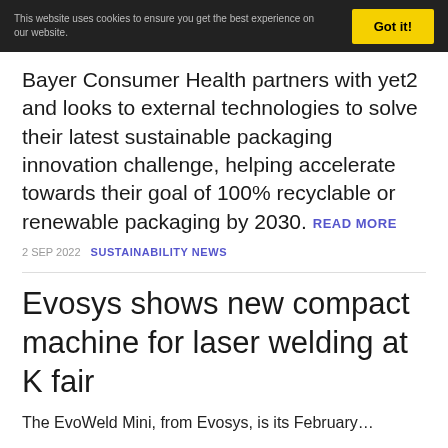This website uses cookies to ensure you get the best experience on our website   Got it!
Bayer Consumer Health partners with yet2 and looks to external technologies to solve their latest sustainable packaging innovation challenge, helping accelerate towards their goal of 100% recyclable or renewable packaging by 2030. READ MORE
2 SEP 2022   SUSTAINABILITY NEWS
Evosys shows new compact machine for laser welding at K fair
The EvoWeld Mini, from Evosys, is its February…